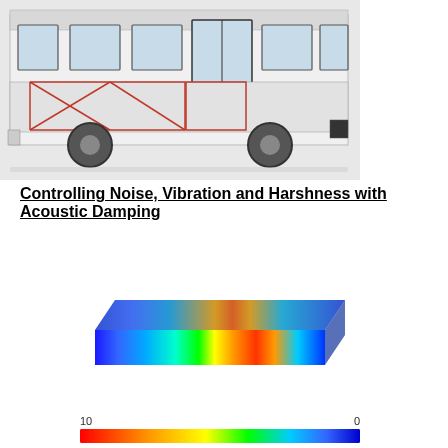[Figure (photo): Side view of a white city bus/coach with structural frame highlighted in red lines overlaid on the chassis and underbody area, showing the bus body structure.]
Controlling Noise, Vibration and Harshness with Acoustic Damping
[Figure (engineering-diagram): 3D FEA/simulation visualization of a structural beam showing vibration mode shape with a false-color heat map ranging from blue (low displacement) at the ends to red/orange (high displacement) at the center, representing acoustic or vibration damping analysis. A color scale bar at the bottom shows values from 10 (red) to 0 (blue).]